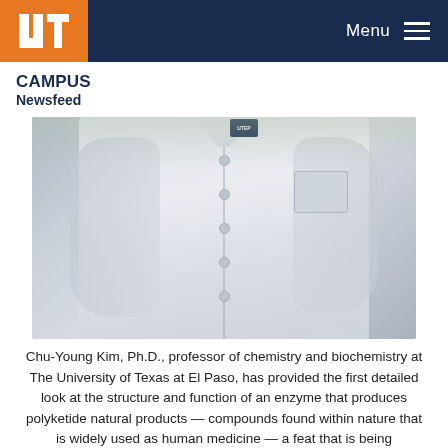UTEP — Menu
CAMPUS
Newsfeed
[Figure (photo): Person wearing a white lab coat with UTEP branding, photographed outdoors from the torso up.]
Chu-Young Kim, Ph.D., professor of chemistry and biochemistry at The University of Texas at El Paso, has provided the first detailed look at the structure and function of an enzyme that produces polyketide natural products — compounds found within nature that is widely used as human medicine — a feat that is being documented in the latest edition of Science, one of the